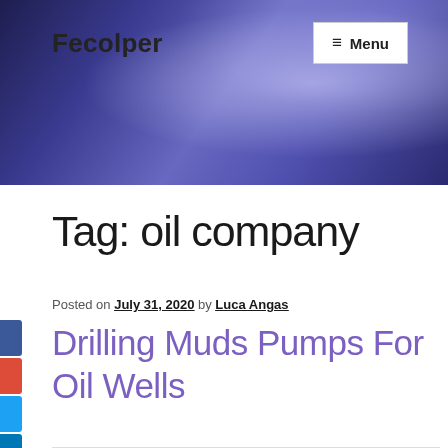Fecolper
Tag: oil company
Posted on July 31, 2020 by Luca Angas
Drilling Muds Pumps For Oil Wells
Mud pumps for drilling rigs are crucial to the oil well drilling system, and they can be double-acting or single-